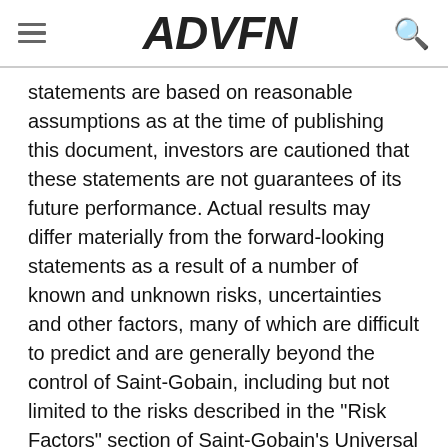ADVFN
statements are based on reasonable assumptions as at the time of publishing this document, investors are cautioned that these statements are not guarantees of its future performance. Actual results may differ materially from the forward-looking statements as a result of a number of known and unknown risks, uncertainties and other factors, many of which are difficult to predict and are generally beyond the control of Saint-Gobain, including but not limited to the risks described in the "Risk Factors" section of Saint-Gobain's Universal Registration Document available on its website ( www.saint-gobain.com ). Accordingly, readers of this document are cautioned against relying on these forward-looking statements. These forward-looking statements are made as of the date of this document. Saint-Gobain disclaims any intention or obligation to complete, update or revise these forward-